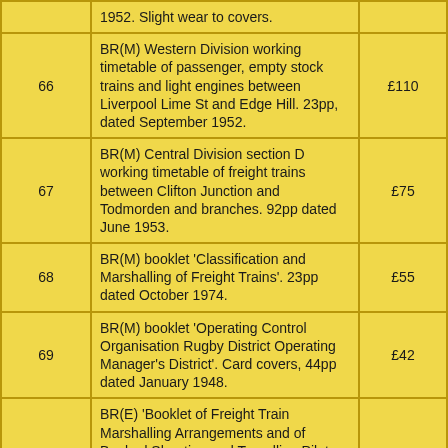| Lot | Description | Price |
| --- | --- | --- |
|  | 1952. Slight wear to covers. |  |
| 66 | BR(M) Western Division working timetable of passenger, empty stock trains and light engines between Liverpool Lime St and Edge Hill. 23pp, dated September 1952. | £110 |
| 67 | BR(M) Central Division section D working timetable of freight trains between Clifton Junction and Todmorden and branches. 92pp dated June 1953. | £75 |
| 68 | BR(M) booklet 'Classification and Marshalling of Freight Trains'. 23pp dated October 1974. | £55 |
| 69 | BR(M) booklet 'Operating Control Organisation Rugby District Operating Manager's District'. Card covers, 44pp dated January 1948. | £42 |
| 70 | BR(E) 'Booklet of Freight Train Marshalling Arrangements and of Booked Shunting and Travelling Pilots (Passenger and Freight) etc Doncaster District, King's Cross District, Leeds District, Lincoln District, Manchester District, Nottingham District'. 95pp dated October 1957. | £22 |
|  | BR(NE) booklet 'Instructions respecting |  |